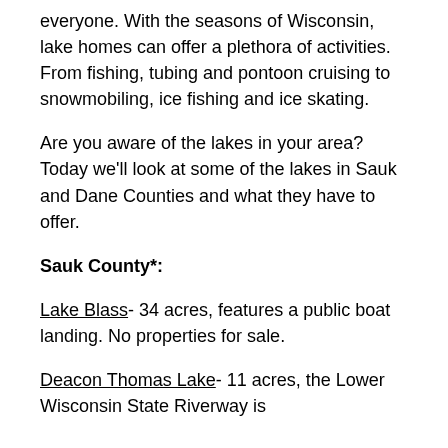everyone.  With the seasons of Wisconsin, lake homes can offer a plethora of activities.  From fishing, tubing and pontoon cruising to snowmobiling, ice fishing and ice skating.
Are you aware of the lakes in your area?  Today we'll look at some of the lakes in Sauk and Dane Counties and what they have to offer.
Sauk County*:
Lake Blass- 34 acres, features a public boat landing.  No properties for sale.
Deacon Thomas Lake- 11 acres, the Lower Wisconsin State Riverway is